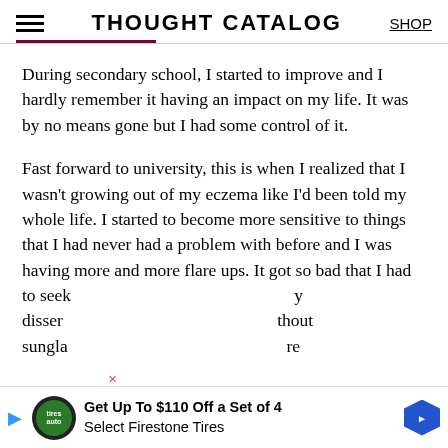THOUGHT CATALOG
During secondary school, I started to improve and I hardly remember it having an impact on my life. It was by no means gone but I had some control of it.
Fast forward to university, this is when I realized that I wasn't growing out of my eczema like I'd been told my whole life. I started to become more sensitive to things that I had never had a problem with before and I was having more and more flare ups. It got so bad that I had to seek medical help that could be I was sitting my dissert... thout sungla... re
[Figure (advertisement): Get Up To $110 Off a Set of 4 Select Firestone Tires advertisement banner with auto logo and blue arrow icon]